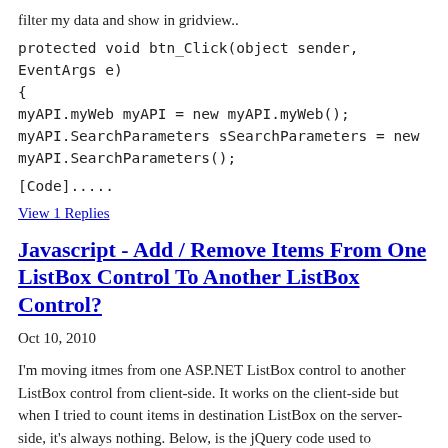filter my data and show in gridview..
protected void btn_Click(object sender, EventArgs e)
{
myAPI.myWeb myAPI = new myAPI.myWeb();
myAPI.SearchParameters sSearchParameters = new myAPI.SearchParameters();
[Code].....
View 1 Replies
Javascript - Add / Remove Items From One ListBox Control To Another ListBox Control?
Oct 10, 2010
I'm moving itmes from one ASP.NET ListBox control to another ListBox control from client-side. It works on the client-side but when I tried to count items in destination ListBox on the server-side, it's always nothing. Below, is the jQuery code used to add/remove items from ListBox control.